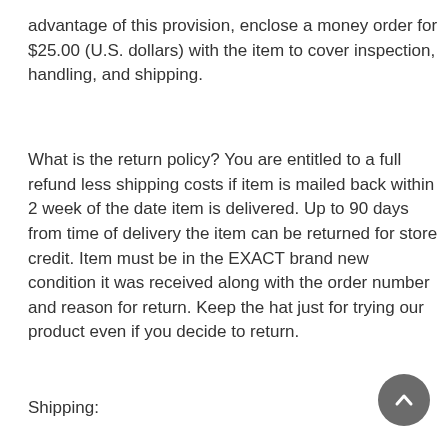advantage of this provision, enclose a money order for $25.00 (U.S. dollars) with the item to cover inspection, handling, and shipping.
What is the return policy? You are entitled to a full refund less shipping costs if item is mailed back within 2 week of the date item is delivered. Up to 90 days from time of delivery the item can be returned for store credit. Item must be in the EXACT brand new condition it was received along with the order number and reason for return. Keep the hat just for trying our product even if you decide to return.
Shipping: